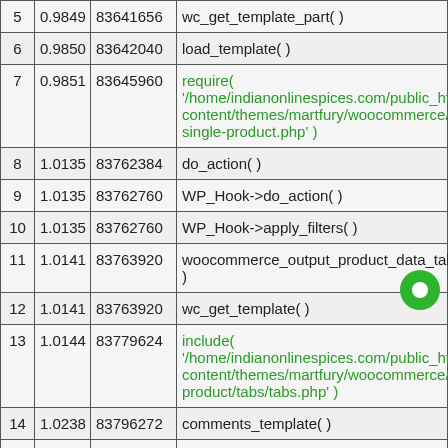| # | Time | Memory | Function |
| --- | --- | --- | --- |
| 5 | 0.9849 | 83641656 | wc_get_template_part( ) |
| 6 | 0.9850 | 83642040 | load_template( ) |
| 7 | 0.9851 | 83645960 | require( '/home/indianonlinespices.com/public_html/wp-content/themes/martfury/woocommerce/content-single-product.php' ) |
| 8 | 1.0135 | 83762384 | do_action( ) |
| 9 | 1.0135 | 83762760 | WP_Hook->do_action( ) |
| 10 | 1.0135 | 83762760 | WP_Hook->apply_filters( ) |
| 11 | 1.0141 | 83763920 | woocommerce_output_product_data_tabs( ) |
| 12 | 1.0141 | 83763920 | wc_get_template( ) |
| 13 | 1.0144 | 83779624 | include( '/home/indianonlinespices.com/public_html/wp-content/themes/martfury/woocommerce/single-product/tabs/tabs.php' ) |
| 14 | 1.0238 | 83796272 | comments_template( ) |
| 15 |  |  | require( '/home/indianonlinespices.com/public_html/... |